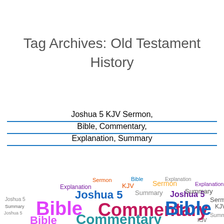Tag Archives: Old Testament History
Joshua 5 KJV Sermon, Bible, Commentary, Explanation, Summary
[Figure (infographic): Word cloud containing terms: Bible, Commentary, Joshua 5, Sermon, Explanation, KJV, Summary in various colors (magenta, blue, purple, gold, teal, orange) and sizes]